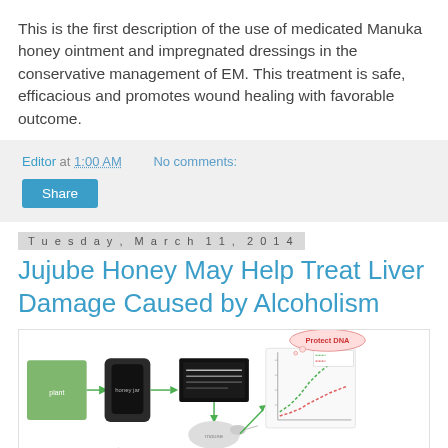This is the first description of the use of medicated Manuka honey ointment and impregnated dressings in the conservative management of EM. This treatment is safe, efficacious and promotes wound healing with favorable outcome.
Editor at 1:00 AM   No comments:
Share
Tuesday, March 11, 2014
Jujube Honey May Help Treat Liver Damage Caused by Alcoholism
[Figure (infographic): Scientific infographic showing jujube honey research: plant photo, honey jar, gel electrophoresis image, mouse image, a graph with green and pink dotted lines showing growth curves, and 'Protect DNA' label in a thought bubble. Also shows 'Jujube Honey' label at bottom with circular elements.]